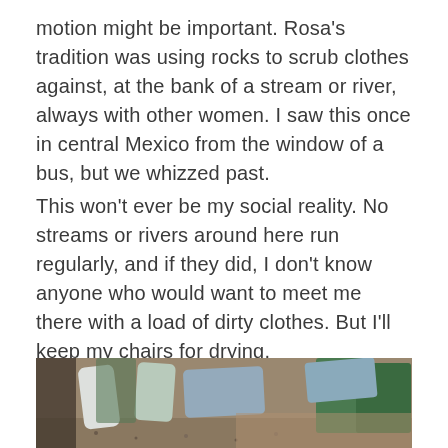motion might be important. Rosa's tradition was using rocks to scrub clothes against, at the bank of a stream or river, always with other women. I saw this once in central Mexico from the window of a bus, but we whizzed past.
This won't ever be my social reality. No streams or rivers around here run regularly, and if they did, I don't know anyone who would want to meet me there with a load of dirty clothes. But I'll keep my chairs for drying.
[Figure (photo): A photo showing clothes and socks draped over outdoor green chairs to dry, resting on gravel ground in sunny outdoor setting.]